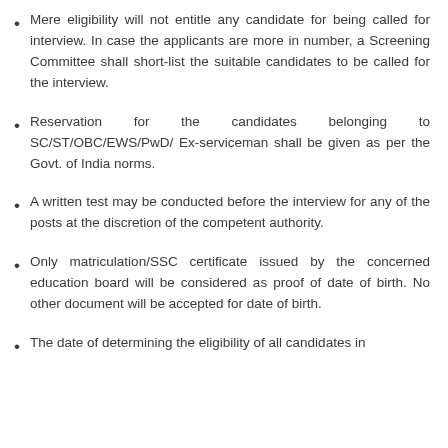Mere eligibility will not entitle any candidate for being called for interview. In case the applicants are more in number, a Screening Committee shall short-list the suitable candidates to be called for the interview.
Reservation for the candidates belonging to SC/ST/OBC/EWS/PwD/ Ex-serviceman shall be given as per the Govt. of India norms.
A written test may be conducted before the interview for any of the posts at the discretion of the competent authority.
Only matriculation/SSC certificate issued by the concerned education board will be considered as proof of date of birth. No other document will be accepted for date of birth.
The date of determining the eligibility of all candidates in